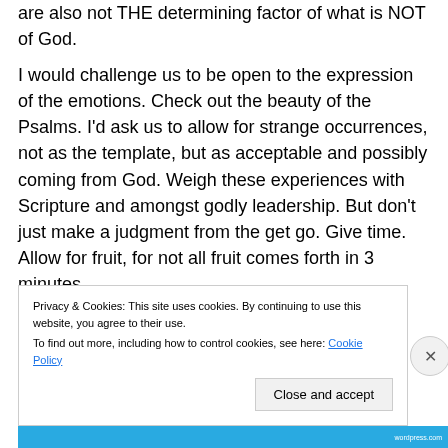are also not THE determining factor of what is NOT of God.
I would challenge us to be open to the expression of the emotions. Check out the beauty of the Psalms. I'd ask us to allow for strange occurrences, not as the template, but as acceptable and possibly coming from God. Weigh these experiences with Scripture and amongst godly leadership. But don't just make a judgment from the get go. Give time. Allow for fruit, for not all fruit comes forth in 3 minutes.
Privacy & Cookies: This site uses cookies. By continuing to use this website, you agree to their use. To find out more, including how to control cookies, see here: Cookie Policy